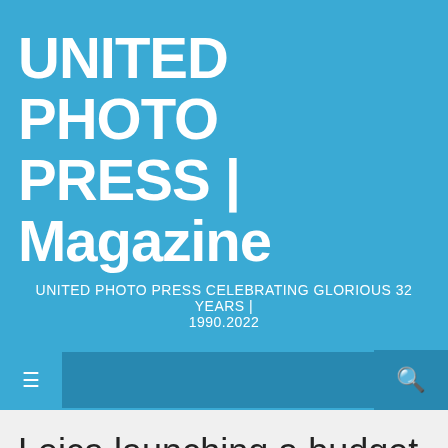UNITED PHOTO PRESS | Magazine
UNITED PHOTO PRESS CELEBRATING GLORIOUS 32 YEARS | 1990.2022
≡  🔍
Leica launching a budget line… starting with a rebadged Sigma 24-70mm?